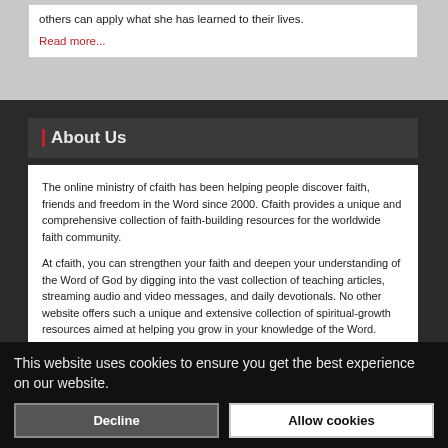others can apply what she has learned to their lives.
Read more...
About Us
The online ministry of cfaith has been helping people discover faith, friends and freedom in the Word since 2000. Cfaith provides a unique and comprehensive collection of faith-building resources for the worldwide faith community.
At cfaith, you can strengthen your faith and deepen your understanding of the Word of God by digging into the vast collection of teaching articles, streaming audio and video messages, and daily devotionals. No other website offers such a unique and extensive collection of spiritual-growth resources aimed at helping you grow in your knowledge of the Word.
This website uses cookies to ensure you get the best experience on our website.
Decline
Allow cookies